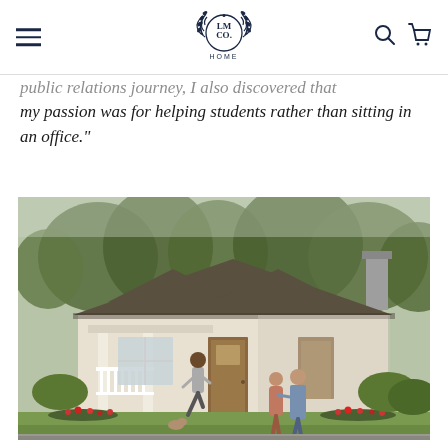LM Co. HOME (navigation header with hamburger menu, logo, search and cart icons)
public relations journey, I also discovered that my passion was for helping students rather than sitting in an office."
[Figure (photo): Exterior view of a craftsman bungalow style house with trees in background. Three people visible: one running/jumping up the front porch steps, and two others (a couple) standing on the front walkway looking at the house. The house has a covered porch with white railings, brown shingle siding, and colorful flower beds along the front.]